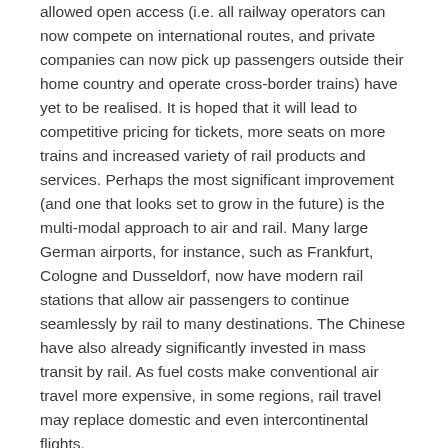allowed open access (i.e. all railway operators can now compete on international routes, and private companies can now pick up passengers outside their home country and operate cross-border trains) have yet to be realised. It is hoped that it will lead to competitive pricing for tickets, more seats on more trains and increased variety of rail products and services. Perhaps the most significant improvement (and one that looks set to grow in the future) is the multi-modal approach to air and rail. Many large German airports, for instance, such as Frankfurt, Cologne and Dusseldorf, now have modern rail stations that allow air passengers to continue seamlessly by rail to many destinations. The Chinese have also already significantly invested in mass transit by rail. As fuel costs make conventional air travel more expensive, in some regions, rail travel may replace domestic and even intercontinental flights.
Given that the travel and tourism industry is a huge employer, the development of and tighter controls on employment rights are likely to be a significant factor in the future. It is worth noting in this regard that there are few NGOs lobbying the industry on human rights; the UK-based charity Tourism Concern is a small but vociferous organisation that campaigns for a variety of human